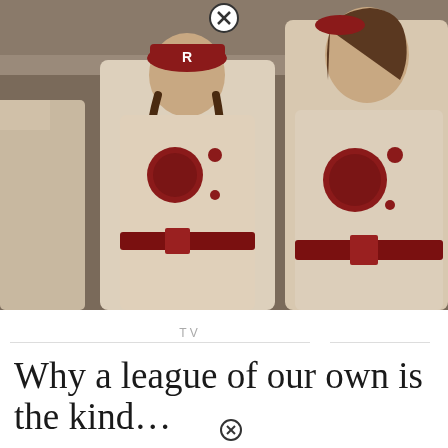[Figure (photo): Two women dressed in vintage baseball uniforms (cream/white with red belts and red hats with 'R' logo), appearing to be from the TV show 'A League of Our Own'. One woman has braided hair and a red cap, the other is taller without a hat.]
TV
Why a league of our own is the kind...